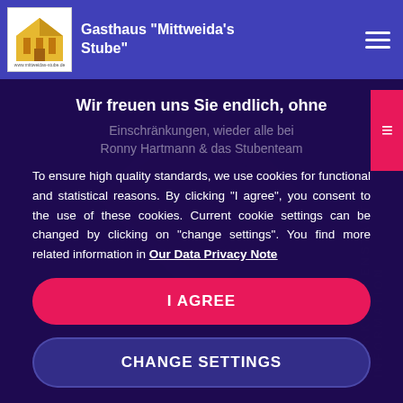Gasthaus "Mittweida's Stube"
Wir freuen uns Sie endlich, ohne
Einschränkungen, wieder alle bei
Ronny Hartmann & das Stubenteam
To ensure high quality standards, we use cookies for functional and statistical reasons. By clicking "I agree", you consent to the use of these cookies. Current cookie settings can be changed by clicking on "change settings". You find more related information in Our Data Privacy Note
I AGREE
CHANGE SETTINGS